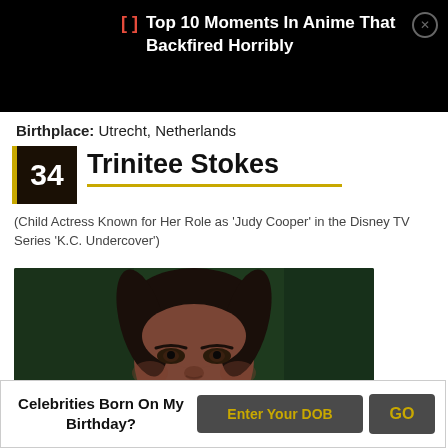[] Top 10 Moments In Anime That Backfired Horribly
Birthplace: Utrecht, Netherlands
34 Trinitee Stokes
(Child Actress Known for Her Role as ‘Judy Cooper’ in the Disney TV Series ‘K.C. Undercover’)
[Figure (photo): Photo of Trinitee Stokes, a young woman with braids, photographed against a dark green background]
Celebrities Born On My Birthday? Enter Your DOB GO